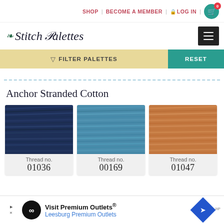SHOP | BECOME A MEMBER | LOG IN | 0
Stitch Palettes
FILTER PALETTES   RESET
Anchor Stranded Cotton
[Figure (photo): Dark navy blue embroidery thread skein]
Thread no. 01036
[Figure (photo): Medium blue embroidery thread skein]
Thread no. 00169
[Figure (photo): Orange/tan embroidery thread skein]
Thread no. 01047
Visit Premium Outlets® Leesburg Premium Outlets